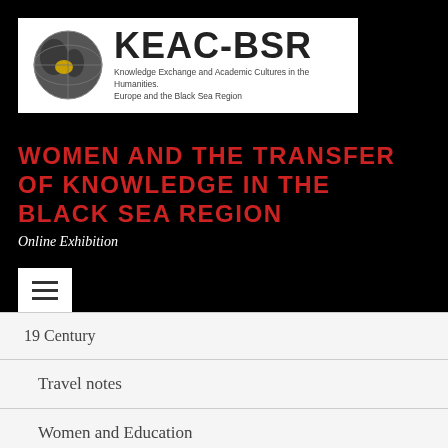[Figure (logo): KEAC-BSR logo with globe showing Europe and Black Sea region highlighted in yellow, with text 'KEAC-BSR' and subtitle 'Knowledge Exchange and Academic Cultures in the Humanities. Europe and the Black Sea Region']
WOMEN AND THE TRANSFER OF KNOWLEDGE IN THE BLACK SEA REGION
Online Exhibition
19 Century
Travel notes
Women and Education
Writing Women
Orientalist views
Women and science